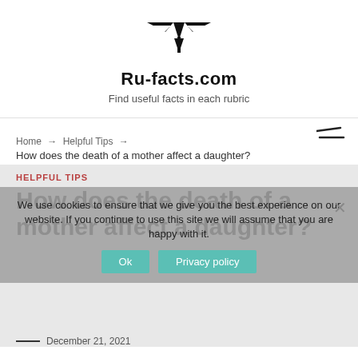Ru-facts.com
Find useful facts in each rubric
[Figure (logo): Ru-facts.com logo: stylized arrow/chevron wing symbol in black]
Home → Helpful Tips →
How does the death of a mother affect a daughter?
HELPFUL TIPS
How does the death of a mother affect a daughter?
We use cookies to ensure that we give you the best experience on our website. If you continue to use this site we will assume that you are happy with it.
Ok   Privacy policy
December 21, 2021